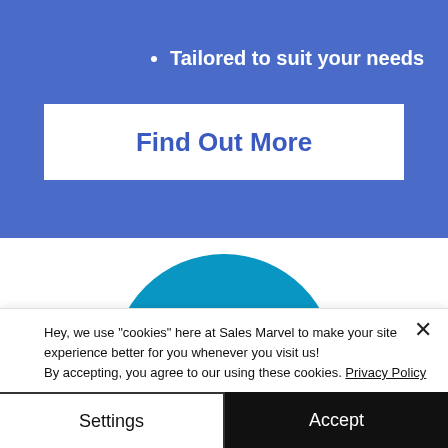•
• Tailored to suit your needs
Find Out More
[Figure (logo): LinkedIn circular logo with 'in' symbol on teal/blue background]
[Figure (logo): HP (Hewlett-Packard) logo partially visible, blue italic letters on white background]
Hey, we use "cookies" here at Sales Marvel to make your site experience better for you whenever you visit us!
By accepting, you agree to our using these cookies. Privacy Policy
Settings
Accept